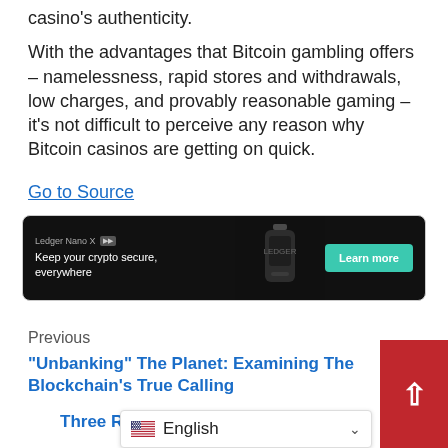casino's authenticity.
With the advantages that Bitcoin gambling offers – namelessness, rapid stores and withdrawals, low charges, and provably reasonable gaming – it's not difficult to perceive any reason why Bitcoin casinos are getting on quick.
Go to Source
[Figure (screenshot): Ledger Nano X advertisement banner with dark background, hardware wallet image, text 'Keep your crypto secure, everywhere' and 'Learn more' button]
Previous
“Unbanking” The Planet: Examining The Blockchain’s True Calling
Three Reasons Why Ethere...
[Figure (screenshot): English language selector bar with US flag icon and chevron]